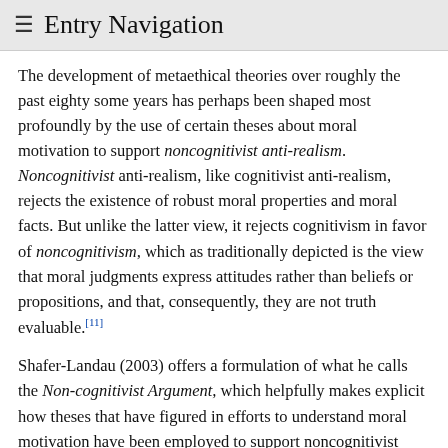≡ Entry Navigation
The development of metaethical theories over roughly the past eighty some years has perhaps been shaped most profoundly by the use of certain theses about moral motivation to support noncognitivist anti-realism. Noncognitivist anti-realism, like cognitivist anti-realism, rejects the existence of robust moral properties and moral facts. But unlike the latter view, it rejects cognitivism in favor of noncognitivism, which as traditionally depicted is the view that moral judgments express attitudes rather than beliefs or propositions, and that, consequently, they are not truth evaluable.[11]
Shafer-Landau (2003) offers a formulation of what he calls the Non-cognitivist Argument, which helpfully makes explicit how theses that have figured in efforts to understand moral motivation have been employed to support noncognitivist anti-realism:
Necessarily, if one sincerely judges an action right, then one is motivated to some extent to act in accordance with that judgment. (Motivational